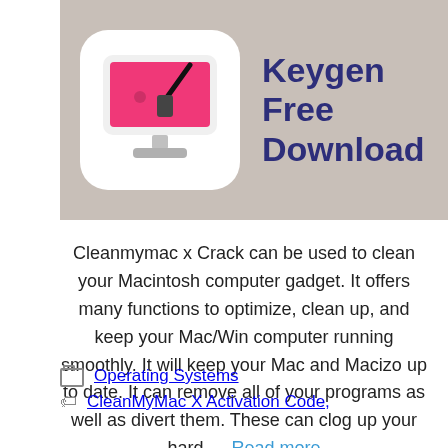[Figure (screenshot): Banner image with a pink/red Mac computer app icon on a taupe/beige background, with bold dark blue text reading 'Keygen Free Download']
Cleanmymac x Crack can be used to clean your Macintosh computer gadget. It offers many functions to optimize, clean up, and keep your Mac/Win computer running smoothly. It will keep your Mac and Macizo up to date. It can remove all of your programs as well as divert them. These can clog up your hard … Read more
Operating Systems
CleanMyMac X Activation Code,